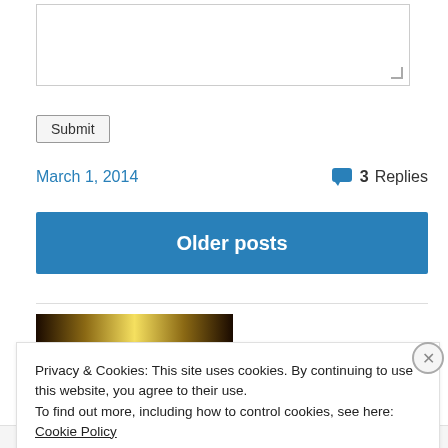[Figure (screenshot): Textarea input box with resize handle]
Submit
March 1, 2014
3 Replies
Older posts
[Figure (photo): Dark atmospheric image with light in the center, likely a website sidebar widget image]
Privacy & Cookies: This site uses cookies. By continuing to use this website, you agree to their use.
To find out more, including how to control cookies, see here: Cookie Policy
Close and accept